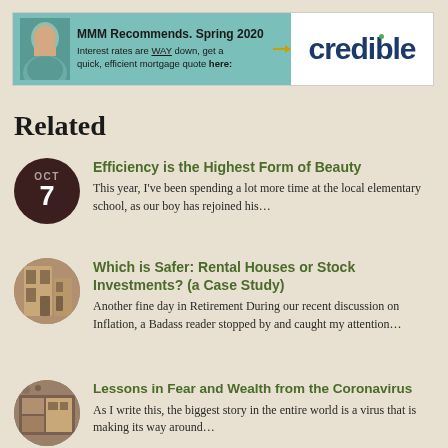[Figure (other): Advertisement banner for Credible mortgage service. Left teal section shows a man's portrait with text 'MMM Recommends. Spring 2020' and 'Interest rates are WAY down, get a quick, efficient mortgage quote here:'. Right white section shows 'credible' logo in dark blue with a green dot.]
Related
OCT 7 | Efficiency is the Highest Form of Beauty | This year, I've been spending a lot more time at the local elementary school, as our boy has rejoined his...
Which is Safer: Rental Houses or Stock Investments? (a Case Study) | Another fine day in Retirement During our recent discussion on Inflation, a Badass reader stopped by and caught my attention...
Lessons in Fear and Wealth from the Coronavirus | As I write this, the biggest story in the entire world is a virus that is making its way around...